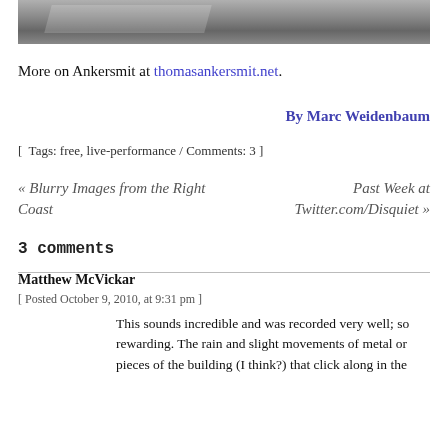[Figure (photo): Grayscale photo of a wooden floor with light reflections, top portion visible]
More on Ankersmit at thomasankersmit.net.
By Marc Weidenbaum
[ Tags: free, live-performance / Comments: 3 ]
« Blurry Images from the Right Coast
Past Week at Twitter.com/Disquiet »
3 comments
Matthew McVickar
[ Posted October 9, 2010, at 9:31 pm ]
This sounds incredible and was recorded very well; so rewarding. The rain and slight movements of metal or pieces of the building (I think?) that click along in the